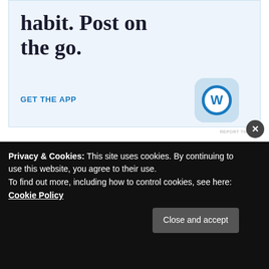[Figure (screenshot): WordPress app advertisement banner with light blue background showing partial text 'habit. Post on the go.' with 'GET THE APP' link and WordPress circular logo icon]
REPORT THIS AD
This is a light and refreshing read. Poor Sandy has troubles on her hands, but it is up to her to make something of her life. That or let her ex ruin it a second time around. A story of truths, that a lot of
Privacy & Cookies: This site uses cookies. By continuing to use this website, you agree to their use.
To find out more, including how to control cookies, see here: Cookie Policy
Close and accept